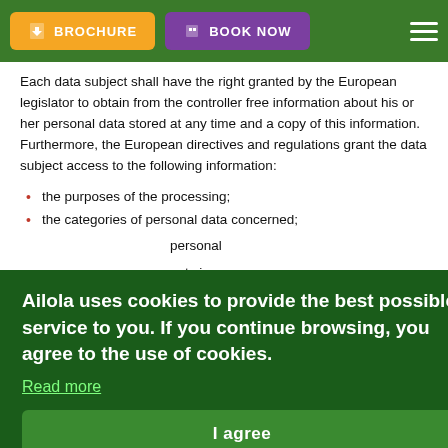BROCHURE | BOOK NOW
Each data subject shall have the right granted by the European legislator to obtain from the controller free information about his or her personal data stored at any time and a copy of this information. Furthermore, the European directives and regulations grant the data subject access to the following information:
the purposes of the processing;
the categories of personal data concerned;
...personal ...ents in
...rsonal ...to
...of ...ect, or to
the existence of the right to lodge a complaint with a supervisory authority;
Ailola uses cookies to provide the best possible service to you. If you continue browsing, you agree to the use of cookies. Read more
I agree